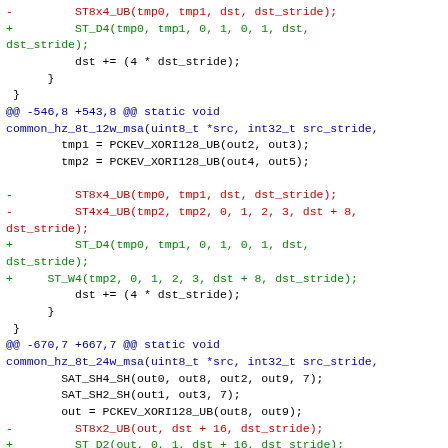Code diff showing changes to MSA (MIPS SIMD Architecture) video processing functions: common_hz_8t_12w_msa and common_hz_8t_24w_msa. Replaces ST8x4_UB, ST4x4_UB, ST8x2_UB calls with ST_D4, ST_W4, ST_D2 equivalents.